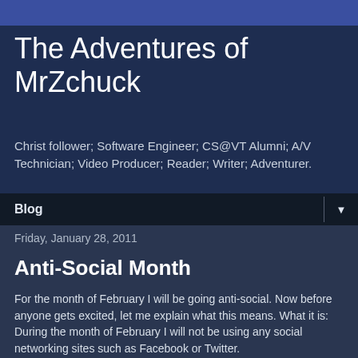The Adventures of MrZchuck
Christ follower; Software Engineer; CS@VT Alumni; A/V Technician; Video Producer; Reader; Writer; Adventurer.
Blog ▼
Friday, January 28, 2011
Anti-Social Month
For the month of February I will be going anti-social. Now before anyone gets excited, let me explain what this means. What it is:
During the month of February I will not be using any social networking sites such as Facebook or Twitter.
What it isn't: